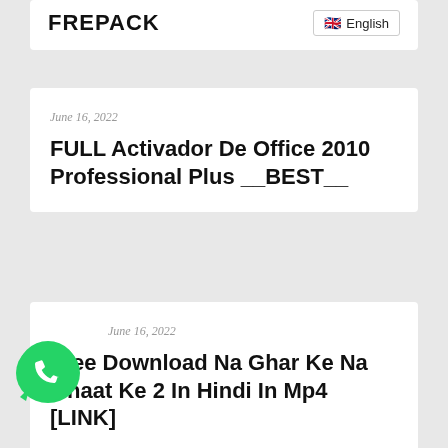FREPACK
English
June 16, 2022
FULL Activador De Office 2010 Professional Plus __BEST__
June 16, 2022
Free Download Na Ghar Ke Na Ghaat Ke 2 In Hindi In Mp4 [LINK]
[Figure (logo): WhatsApp green logo bubble icon]